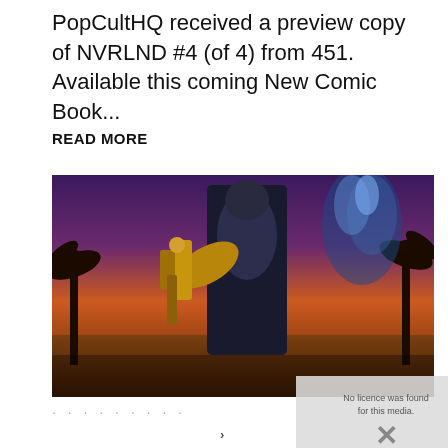PopCultHQ received a preview copy of NVRLND #4 (of 4) from 451. Available this coming New Comic Book...
READ MORE
[Figure (illustration): Comic book cover art showing a fantastical armored character with golden mechanical arm/wing holding a weapon against a dramatic purple/orange sunset sky with palm trees. Tags overlaid: Comic Books, Fantasy, independent Comic, New Comic Book Day]
Comic Books | Fantasy | independent Comic | New Comic Book Day
[Figure (screenshot): Overlapping next article preview showing text about Mediacombo/Viacom Email Notice to Customers Fiction and Phishing Scam with X watermark]